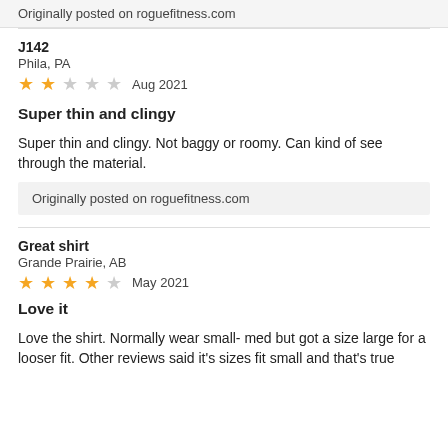Originally posted on roguefitness.com
J142
Phila, PA
★★☆☆☆  Aug 2021
Super thin and clingy
Super thin and clingy. Not baggy or roomy. Can kind of see through the material.
Originally posted on roguefitness.com
Great shirt
Grande Prairie, AB
★★★★☆  May 2021
Love it
Love the shirt. Normally wear small- med but got a size large for a looser fit. Other reviews said it's sizes fit small and that's true